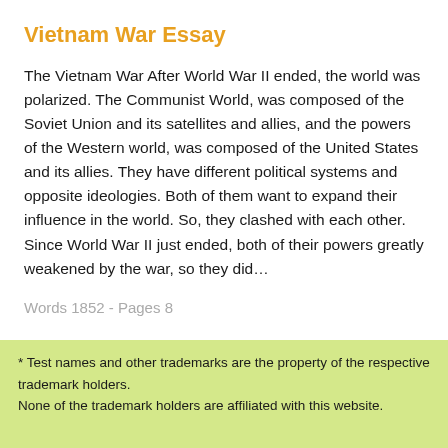Vietnam War Essay
The Vietnam War After World War II ended, the world was polarized. The Communist World, was composed of the Soviet Union and its satellites and allies, and the powers of the Western world, was composed of the United States and its allies. They have different political systems and opposite ideologies. Both of them want to expand their influence in the world. So, they clashed with each other. Since World War II just ended, both of their powers greatly weakened by the war, so they did…
Words 1852 - Pages 8
* Test names and other trademarks are the property of the respective trademark holders.
None of the trademark holders are affiliated with this website.